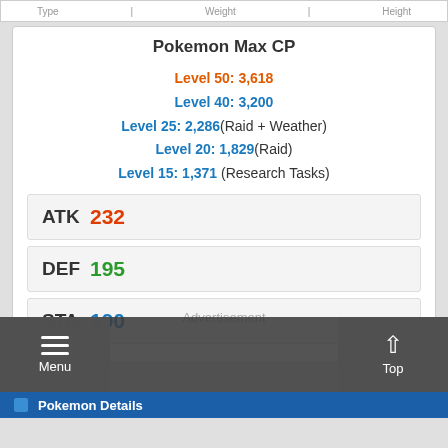| Type | Weight | Height |
| --- | --- | --- |
Pokemon Max CP
Level 50: 3,618
Level 40: 3,200
Level 25: 2,286(Raid + Weather)
Level 20: 1,829(Raid)
Level 15: 1,371 (Research Tasks)
| ATK | DEF | STA |
| --- | --- | --- |
| 232 | 195 | 190 |
Advertisement
Menu | Top